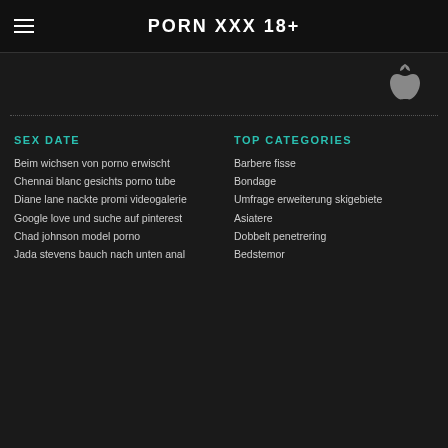PORN XXX 18+
SEX DATE
Beim wichsen von porno erwischt
Chennai blanc gesichts porno tube
Diane lane nackte promi videogalerie
Google love und suche auf pinterest
Chad johnson model porno
Jada stevens bauch nach unten anal
TOP CATEGORIES
Barbere fisse
Bondage
Umfrage erweiterung skigebiete
Asiatere
Dobbelt penetrering
Bedstemor